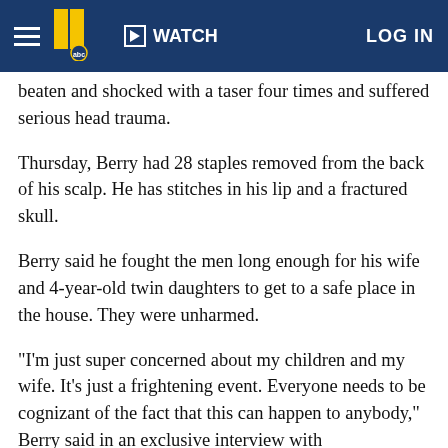WATCH  LOG IN
beaten and shocked with a taser four times and suffered serious head trauma.
Thursday, Berry had 28 staples removed from the back of his scalp. He has stitches in his lip and a fractured skull.
Berry said he fought the men long enough for his wife and 4-year-old twin daughters to get to a safe place in the house. They were unharmed.
"I'm just super concerned about my children and my wife. It's just a frightening event. Everyone needs to be cognizant of the fact that this can happen to anybody," Berry said in an exclusive interview with